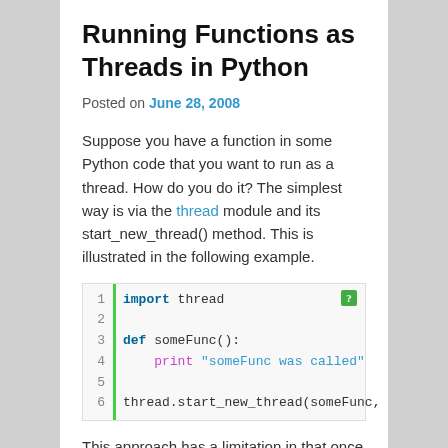Running Functions as Threads in Python
Posted on June 28, 2008
Suppose you have a function in some Python code that you want to run as a thread. How do you do it? The simplest way is via the thread module and its start_new_thread() method. This is illustrated in the following example.
[Figure (screenshot): Python code block showing: 1: import thread, 2: (blank), 3: def someFunc():, 4:     print "someFunc was called", 5: (blank), 6: thread.start_new_thread(someFunc, ())]
This approach has a limitation in that once the start_new_thread() function is called, it is not possible to find out when the thread has finished or to wait for completion of the thread. This may be acceptable for